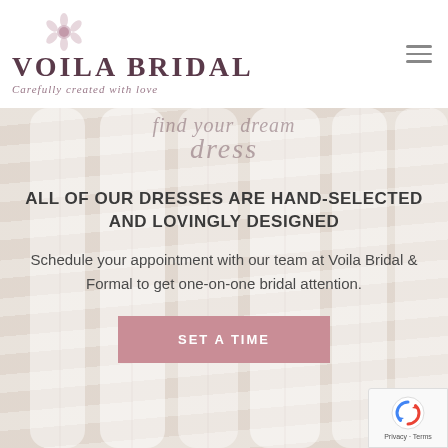[Figure (logo): Voila Bridal logo with flower icon, serif wordmark and italic tagline 'Carefully created with love']
[Figure (illustration): Hamburger/menu icon, three horizontal lines in grey]
[Figure (photo): Background photo of hanging white bridal dresses, soft and light]
find your dream dress
ALL OF OUR DRESSES ARE HAND-SELECTED AND LOVINGLY DESIGNED
Schedule your appointment with our team at Voila Bridal & Formal to get one-on-one bridal attention.
SET A TIME
[Figure (other): reCAPTCHA badge with spinning arrows icon and 'Privacy - Terms' text]